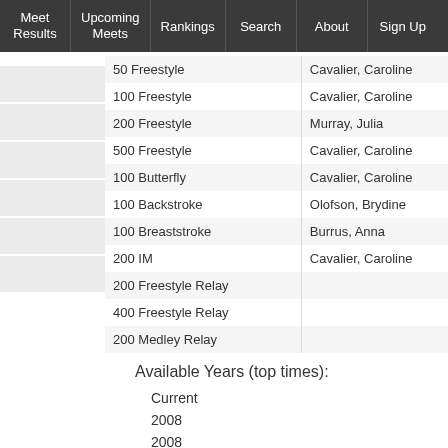Meet Results | Upcoming Meets | Rankings | Search | About | Sign Up
| Event | Swimmer |
| --- | --- |
| 50 Freestyle | Cavalier, Caroline |
| 100 Freestyle | Cavalier, Caroline |
| 200 Freestyle | Murray, Julia |
| 500 Freestyle | Cavalier, Caroline |
| 100 Butterfly | Cavalier, Caroline |
| 100 Backstroke | Olofson, Brydine |
| 100 Breaststroke | Burrus, Anna |
| 200 IM | Cavalier, Caroline |
| 200 Freestyle Relay |  |
| 400 Freestyle Relay |  |
| 200 Medley Relay |  |
Available Years (top times):
Current
2008
2008
2008
2008
2008